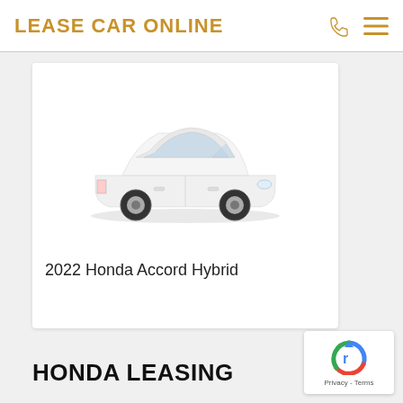LEASE CAR ONLINE
[Figure (photo): White 2022 Honda Accord Hybrid sedan viewed from front-left angle on white background]
2022 Honda Accord Hybrid
HONDA LEASING
[Figure (logo): Google reCAPTCHA badge with blue/red/green logo and Privacy - Terms text]